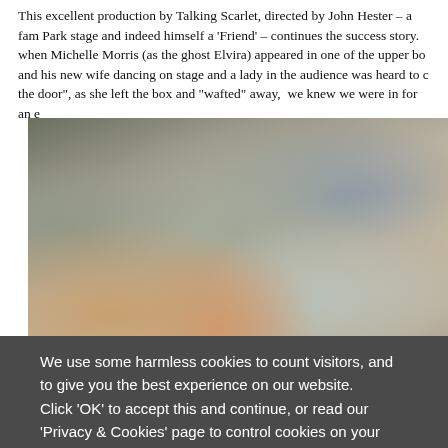This excellent production by Talking Scarlet, directed by John Hester – a fam Park stage and indeed himself a 'Friend' – continues the success story. when Michelle Morris (as the ghost Elvira) appeared in one of the upper bo and his new wife dancing on stage and a lady in the audience was heard to c the door", as she left the box and "wafted" away,  we knew we were in for an e
[Figure (photo): A crowded indoor gathering of people socializing in what appears to be a theatre foyer or reception room. Multiple people of various ages are visible, some talking in groups. The room has ornate decor visible in the background including mirrors and decorative walls.]
We use some harmless cookies to count visitors, and to give you the best experience on our website. Click 'OK' to accept this and continue, or read our 'Privacy & Cookies' page to control cookies on your device.